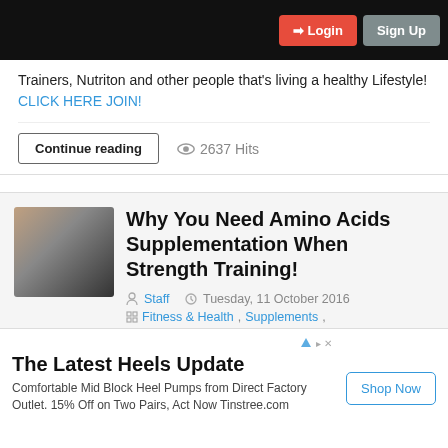Login | Sign Up
Trainers, Nutriton and other people that's living a healthy Lifestyle! CLICK HERE JOIN!
Continue reading   2637 Hits
Why You Need Amino Acids Supplementation When Strength Training!
Staff  Tuesday, 11 October 2016
Fitness & Health, Supplements,
[Figure (photo): Group photo of fitness people]
The Latest Heels Update
Comfortable Mid Block Heel Pumps from Direct Factory Outlet. 15% Off on Two Pairs, Act Now Tinstree.com